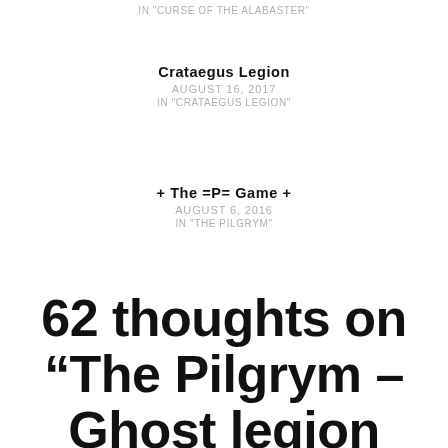IN "CURSE OF THE ALABASTER"
Crataegus Legion
AUGUST 16, 2017
IN "CRATAEGUS LEGION"
+ The =P= Game +
AUGUST 6, 2016
IN "THE PILGRYM"
62 thoughts on “The Pilgrym – Ghost legion ReduXX”